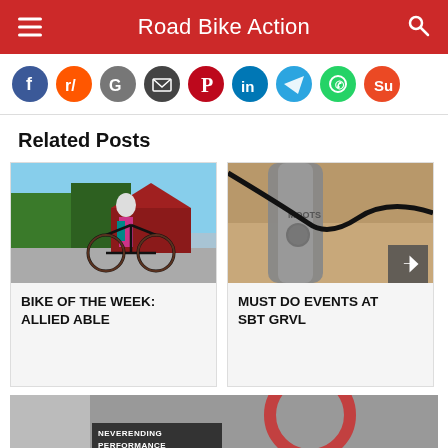Road Bike Action
[Figure (infographic): Row of social media share buttons: Facebook (blue), Reddit (orange), Google (gray), Email (dark gray), Pinterest (dark red), LinkedIn (blue), Telegram (blue), WhatsApp (green), StumbleUpon (orange)]
Related Posts
[Figure (photo): Woman in cycling gear standing with a road bike at an outdoor event, trees in background]
BIKE OF THE WEEK: ALLIED ABLE
[Figure (photo): Close-up of a gray bicycle frame with MOOTS branding and black cable routing]
MUST DO EVENTS AT SBT GRVL
[Figure (photo): Partial advertisement banner with text NEVERENDING PERFORMANCE at bottom]